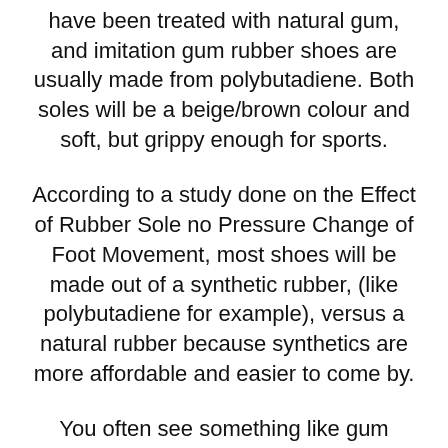have been treated with natural gum, and imitation gum rubber shoes are usually made from polybutadiene. Both soles will be a beige/brown colour and soft, but grippy enough for sports.
According to a study done on the Effect of Rubber Sole no Pressure Change of Foot Movement, most shoes will be made out of a synthetic rubber, (like polybutadiene for example), versus a natural rubber because synthetics are more affordable and easier to come by.
You often see something like gum rubber soles on skateboarding shoes. However, non-marking shoes are most commonly